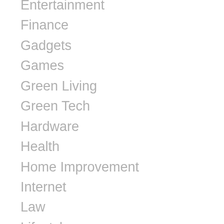Entertainment
Finance
Gadgets
Games
Green Living
Green Tech
Hardware
Health
Home Improvement
Internet
Law
Lifestyle
Mobile
Mobile OS's
Movies, Sports & Entertainment
Networking
Other
Programming
Real Estate